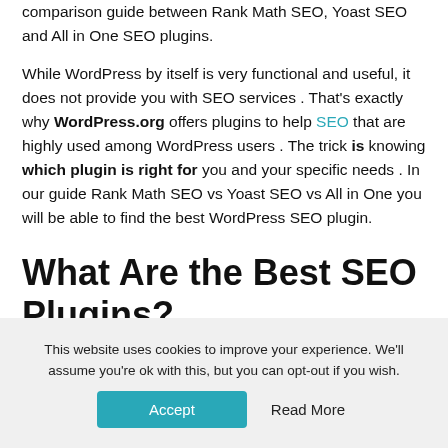comparison guide between Rank Math SEO, Yoast SEO and All in One SEO plugins.
While WordPress by itself is very functional and useful, it does not provide you with SEO services . That's exactly why WordPress.org offers plugins to help SEO that are highly used among WordPress users . The trick is knowing which plugin is right for you and your specific needs . In our guide Rank Math SEO vs Yoast SEO vs All in One you will be able to find the best WordPress SEO plugin.
What Are the Best SEO Plugins?
This website uses cookies to improve your experience. We'll assume you're ok with this, but you can opt-out if you wish.